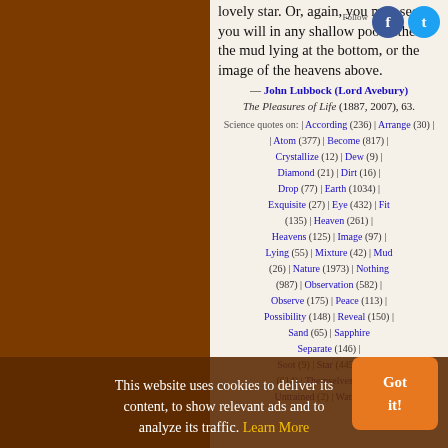lovely star. Or, again, you may see as you will in any shallow pool either the mud lying at the bottom, or the image of the heavens above.
— John Lubbock (Lord Avebury)
The Pleasures of Life (1887, 2007), 63.
Science quotes on: | According (236) | Arrange (30) | Atom (377) | Become (817) | Crystallize (12) | Dew (9) | Diamond (21) | Dirt (16) | Drop (77) | Earth (1034) | Exquisite (27) | Eye (432) | Fit (135) | Heaven (261) | Heavens (125) | Image (97) | Lying (55) | Mixture (42) | Mud (26) | Nature (1973) | Nothing (987) | Observation (582) | Observe (175) | Peace (113) | Possibility (148) | Reveal (150) | Sand (65) | Sapphire (14) | Separate (146) | Soot (9) | Star (445) | Still (614) | Themselves (433) | Untrained (2) | Water (494)
This website uses cookies to deliver its content, to show relevant ads and to analyze its traffic. Learn More